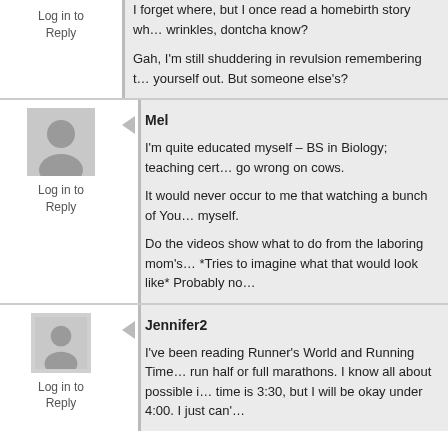I forget where, but I once read a homebirth story wh... wrinkles, dontcha know?

Gah, I'm still shuddering in revulsion remembering t... yourself out. But someone else's?
Log in to Reply
Mel
I'm quite educated myself – BS in Biology; teaching cert... go wrong on cows.

It would never occur to me that watching a bunch of You... myself.

Do the videos show what to do from the laboring mom's... *Tries to imagine what that would look like* Probably no...
Log in to Reply
Jennifer2
I've been reading Runner's World and Running Time... run half or full marathons. I know all about possible i... time is 3:30, but I will be okay under 4:00. I just can'...
Log in to Reply